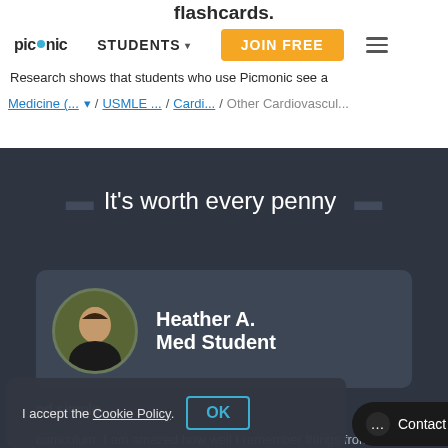flashcards.
picmonic  STUDENTS ▾  JOIN FREE  ☰
Research shows that students who use Picmonic see a
Medicine (... ▾ / USMLE ... / Cardi... / Other Cardiovascul...
It's worth every penny
[Figure (photo): Profile photo of Heather A., a medical student, shown in a circular avatar]
Heather A.
Med Student
nd simple
I accept the Cookie Policy.
OK
Contact Us
curriculum. I am amazed how well I remember things from a...